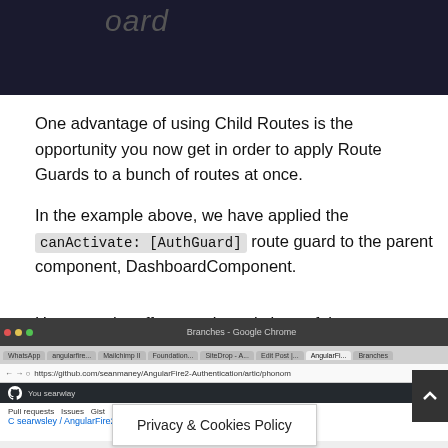[Figure (screenshot): Top portion of a dark-background screenshot showing partial text 'oard' in italic gray on dark background]
One advantage of using Child Routes is the opportunity you now get in order to apply Route Guards to a bunch of routes at once.
In the example above, we have applied the canActivate: [AuthGuard] route guard to the parent component, DashboardComponent.
However, the effects and restrictions of the DashboardComponent will cascade down to affect all the child routes. This is a nifty way of writing less to achieve more.
[Figure (screenshot): Browser screenshot showing GitHub repository page for AngularFire2-Authentication with a Privacy & Cookies Policy banner overlay]